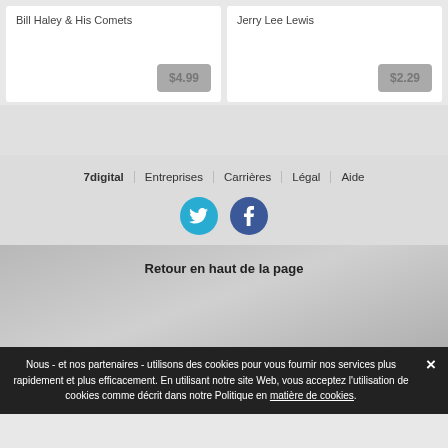Bill Haley & His Comets
$4.99
Jerry Lee Lewis
$2.29
7digital   Entreprises   Carrières   Légal   Aide
[Figure (other): Twitter and Facebook social media icons]
Retour en haut de la page
Nous - et nos partenaires - utilisons des cookies pour vous fournir nos services plus rapidement et plus efficacement. En utilisant notre site Web, vous acceptez l'utilisation de cookies comme décrit dans notre Politique en matière de cookies.